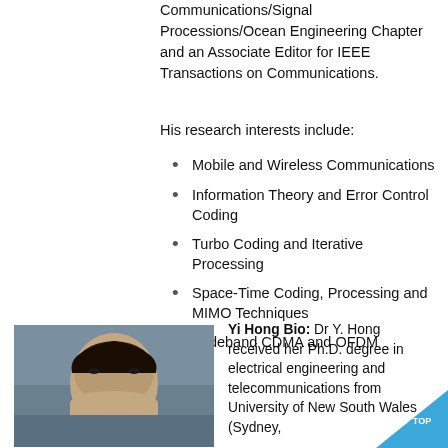Communications/Signal Processions/Ocean Engineering Chapter and an Associate Editor for IEEE Transactions on Communications.
His research interests include:
Mobile and Wireless Communications
Information Theory and Error Control Coding
Turbo Coding and Iterative Processing
Space-Time Coding, Processing and MIMO Techniques
Wideband CDMA and OFDM
[Figure (photo): Portrait photo of Yi Hong]
Yi Hong Bio: Dr Y. Hong received her Ph.D. degree in electrical engineering and telecommunications from University of New South Wales (Sydney,